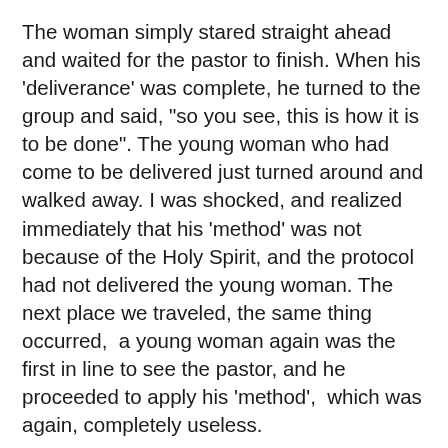The woman simply stared straight ahead and waited for the pastor to finish. When his 'deliverance' was complete, he turned to the group and said, "so you see, this is how it is to be done". The young woman who had come to be delivered just turned around and walked away. I was shocked, and realized immediately that his 'method' was not because of the Holy Spirit, and the protocol had not delivered the young woman. The next place we traveled, the same thing occurred,  a young woman again was the first in line to see the pastor, and he proceeded to apply his 'method',  which was again, completely useless.
This time, I felt thunder rise up in my spirit and I marched very boldly towards the woman. I stood directly in front of her face and the Father's voice roared out of me as commanded with scripture,  a very deep, authoritative and powerful voice, for the demons to leave the woman and emphatically